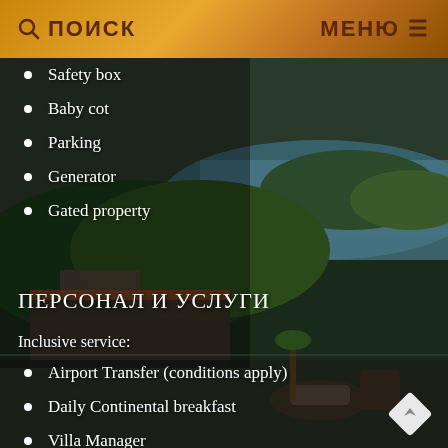ПОИСК   МЕНЮ
Safety box
Baby cot
Parking
Generator
Gated property
ПЕРСОНАЛ И УСЛУГИ
Inclusive service:
Airport Transfer (conditions apply)
Daily Continental breakfast
Villa Manager
Daily maid service